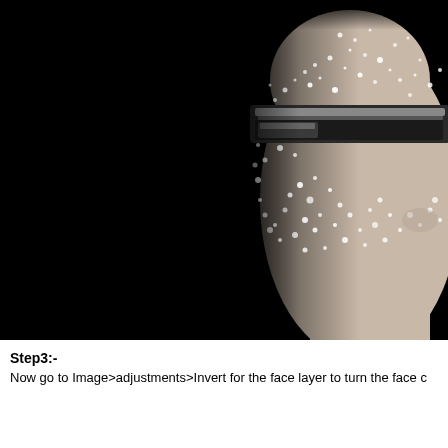[Figure (photo): A close-up artistic black and white photo of a person's face with a futuristic metallic visor/glasses across their eyes. The face appears to be dissolving or shattering into glittery, sparkly particles, especially around the visor area and lower face/cheek area. The left half of the image is mostly black. The right side shows pale skin with sparkle/glitter effects.]
Step3:-
Now go to Image>adjustments>Invert for the face layer to turn the face c